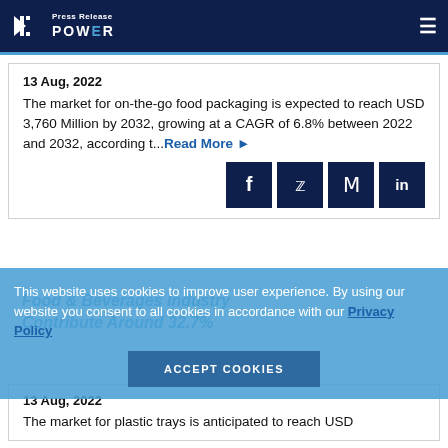Press Release POWER
13 Aug, 2022
The market for on-the-go food packaging is expected to reach USD 3,760 Million by 2032, growing at a CAGR of 6.8% between 2022 and 2032, according t... Read More
This website uses cookies to improve user experience. By using our website you consent to all cookies in accordance with our Privacy Policy
Food & Beverages Industry Contribute Around 32.7%
13 Aug, 2022
The market for plastic trays is anticipated to reach USD 7,500 million by 2032, and at USD 11,400 million...